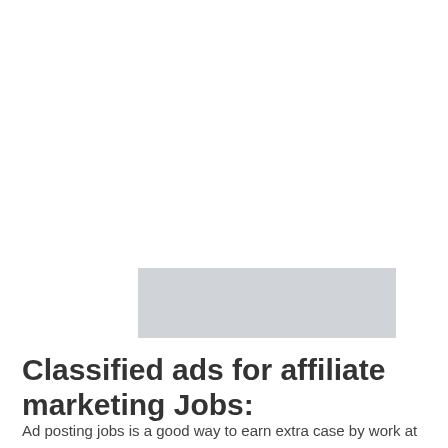[Figure (other): Gray rectangular ad placeholder banner]
Classified ads for affiliate marketing Jobs:
Ad posting jobs is a good way to earn extra case by work at home but the work is limited for few country like India, USA also